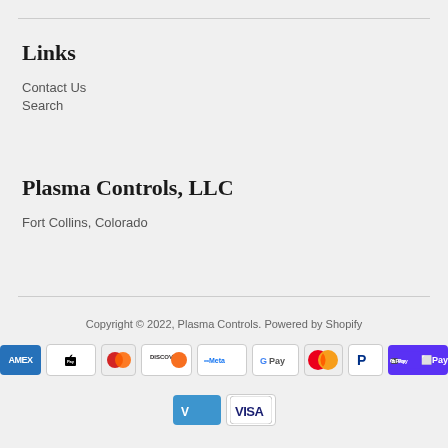Links
Contact Us
Search
Plasma Controls, LLC
Fort Collins, Colorado
Copyright © 2022, Plasma Controls. Powered by Shopify
[Figure (other): Payment method icons: American Express, Apple Pay, Diners Club, Discover, Meta Pay, Google Pay, Mastercard, PayPal, Shop Pay, Venmo, Visa]